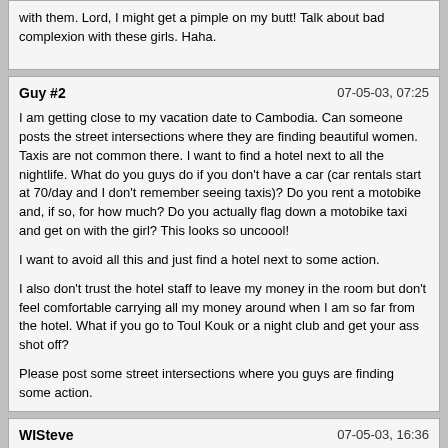with them. Lord, I might get a pimple on my butt! Talk about bad complexion with these girls. Haha.
Guy #2
07-05-03, 07:25

I am getting close to my vacation date to Cambodia. Can someone posts the street intersections where they are finding beautiful women. Taxis are not common there. I want to find a hotel next to all the nightlife. What do you guys do if you don't have a car (car rentals start at 70/day and I don't remember seeing taxis)? Do you rent a motobike and, if so, for how much? Do you actually flag down a motobike taxi and get on with the girl? This looks so uncoool!

I want to avoid all this and just find a hotel next to some action.

I also don't trust the hotel staff to leave my money in the room but don't feel comfortable carrying all my money around when I am so far from the hotel. What if you go to Toul Kouk or a night club and get your ass shot off?

Please post some street intersections where you guys are finding some action.
WISteve
07-05-03, 16:36

I've read with some concern the politics in Cambodia of late. I'll be in Pattaya and Bangkok for three weeks beginning in August and have always wanted to make a side trip to Cambodia but haven't to this point. It sounds pretty "wild west" compared to the tourist friendly Thailand I'm accustomed to. I found the bus route information from Pattaya to Koh Kong and info on the time-consuming boat trip ultimately to PP. I've also checked with Thai Air and Expedia and it seems about 11,000 baht is the cheapest round trip I can find from BKK.

My question is: Is it really worth it at this point? If I'm just looking for "farm fresh" girls, I can head up to Korat / Khon Kaen and the surrounding area. Thailand has it's share of corruption, but it's predictable and if you don't do anything stupid no one will ever bother you. I've been out on the streets of BKK